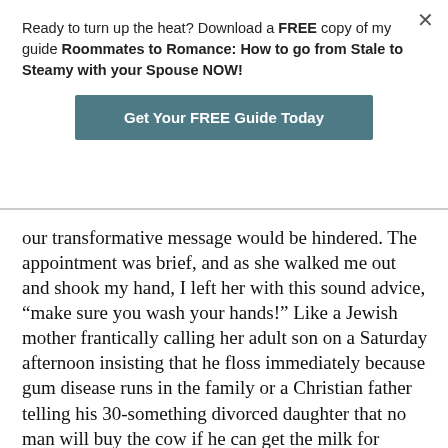Ready to turn up the heat? Download a FREE copy of my guide Roommates to Romance: How to go from Stale to Steamy with your Spouse NOW!
[Figure (other): Call-to-action button: 'Get Your FREE Guide Today' in white text on teal/dark-slate background]
our transformative message would be hindered. The appointment was brief, and as she walked me out and shook my hand, I left her with this sound advice, “make sure you wash your hands!” Like a Jewish mother frantically calling her adult son on a Saturday afternoon insisting that he floss immediately because gum disease runs in the family or a Christian father telling his 30-something divorced daughter that no man will buy the cow if he can get the milk for